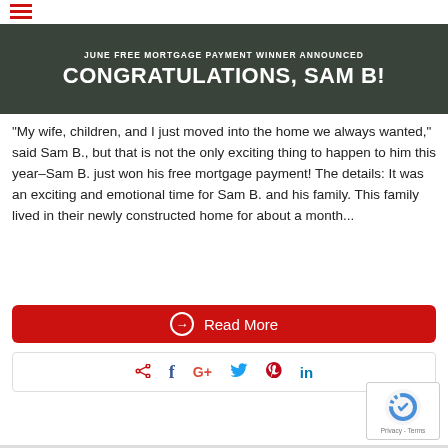[Figure (other): Banner image with text: JUNE FREE MORTGAGE PAYMENT WINNER ANNOUNCED / CONGRATULATIONS, SAM B!]
“My wife, children, and I just moved into the home we always wanted,” said Sam B., but that is not the only exciting thing to happen to him this year–Sam B. just won his free mortgage payment! The details: It was an exciting and emotional time for Sam B. and his family. This family lived in their newly constructed home for about a month...